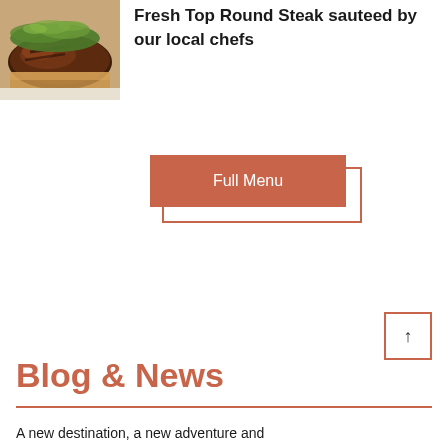[Figure (photo): Photo of a cooked steak dish topped with greens/herbs, served on a plate]
Fresh Top Round Steak sauteed by our local chefs
Full Menu
[Figure (other): Back to top arrow button — a square with an upward arrow inside]
Blog & News
A new destination, a new adventure and